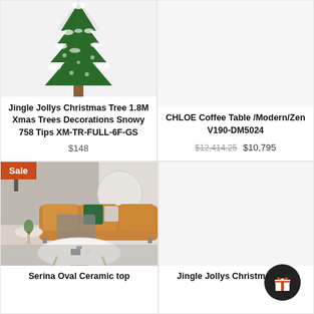[Figure (photo): Snowy Christmas tree product photo, white background]
Jingle Jollys Christmas Tree 1.8M Xmas Trees Decorations Snowy 758 Tips XM-TR-FULL-6F-GS
$148
[Figure (photo): CHLOE Coffee Table product photo, white background]
CHLOE Coffee Table /Modern/Zen V190-DM5024
$12,414.25 $10,795
Sale
[Figure (photo): Serina Oval Ceramic top coffee table with wooden legs in a living room setting]
Serina Oval Ceramic top
[Figure (photo): Product photo area, white background, partially visible]
Jingle Jollys Christmas Tree